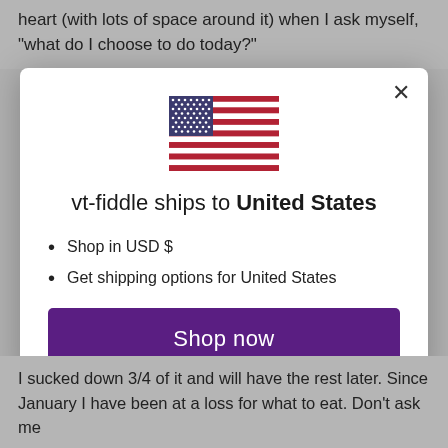heart (with lots of space around it) when I ask myself, "what do I choose to do today?"
[Figure (screenshot): A modal dialog on a website showing a US flag, text 'vt-fiddle ships to United States', bullet points for shop in USD $ and get shipping options for United States, a purple 'Shop now' button, and a 'Change shipping country' link.]
I sucked down 3/4 of it and will have the rest later. Since January I have been at a loss for what to eat. Don't ask me